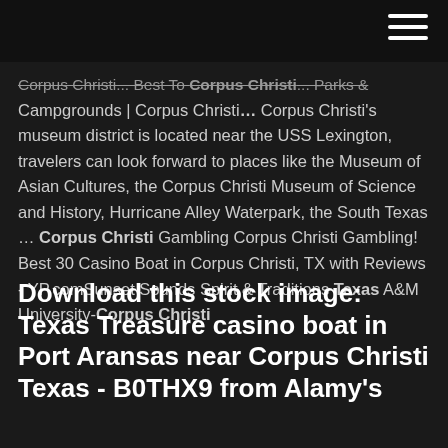≡ (hamburger menu icon)
Corpus Christi... Best To Corpus Christi... Parks & Campgrounds | Corpus Christi… Corpus Christi's museum district is located near the USS Lexington, travelers can look forward to places like the Museum of Asian Cultures, the Corpus Christi Museum of Science and History, Hurricane Alley Waterpark, the South Texas … Corpus Christi Gambling Corpus Christi Gambling! Best 30 Casino Boat in Corpus Christi, TX with Reviews - YP.comSunset Sounds Spirit & Traditions Texas A&M University-Corpus Christi
Download this stock image: Texas Treasure casino boat in Port Aransas near Corpus Christi Texas - B0THX9 from Alamy's